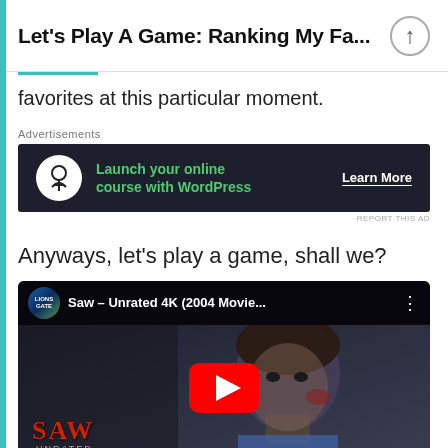Let's Play A Game: Ranking My Fa...
favorites at this particular moment.
[Figure (screenshot): Advertisement banner for WordPress online course: 'Launch your online course with WordPress' with 'Learn More' call to action on dark background]
Anyways, let's play a game, shall we?
[Figure (screenshot): Embedded YouTube video thumbnail: 'Saw – Unrated 4K (2004 Movie...' from LIONSGATE channel, showing a man's face and the SAW movie logo with UNRATED text at the bottom]